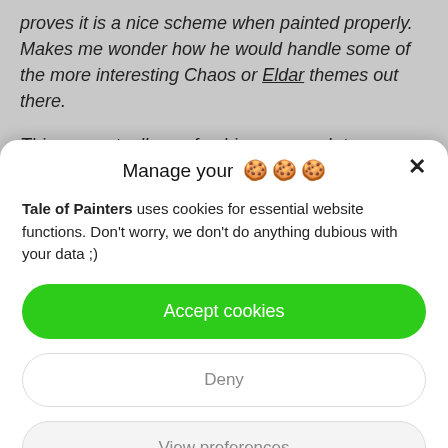proves it is a nice scheme when painted properly. Makes me wonder how he would handle some of the more interesting Chaos or Eldar themes out there.
This was actually a refreshing approach to painting. I've taken inspiration from someone else's work and honoured their
Manage your 🍪🍪🍪
Tale of Painters uses cookies for essential website functions. Don't worry, we don't do anything dubious with your data ;)
Accept cookies
Deny
View preferences